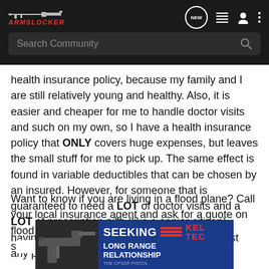[Figure (screenshot): ArmsLocker website navigation bar with logo, search bar, and nav icons]
health insurance policy, because my family and I are still relatively young and healthy. Also, it is easier and cheaper for me to handle doctor visits and such on my own, so I have a health insurance policy that ONLY covers huge expenses, but leaves the small stuff for me to pick up. The same effect is found in variable deductibles that can be chosen by an insured. However, for someone that is guaranteed to need a LOT of doctor visits and a LOT of prescription pills (like a senior citizen), having that insurance is beyond value at almost any price.
Want to know if you are living in a flood plane? Call your local insurance agent and ask for a quote on flood insurance. He'll direct yo... ause this is s... won't
[Figure (photo): Kel-Tec advertisement banner: SEEKING LONG RANGE RELATIONSHIP - THE CP33 PISTOL, with gun image on left]